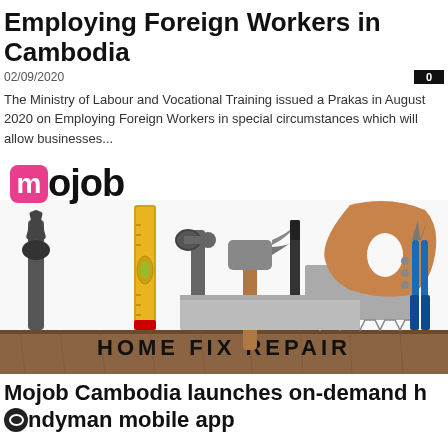Employing Foreign Workers in Cambodia
02/09/2020
The Ministry of Labour and Vocational Training issued a Prakas in August 2020 on Employing Foreign Workers in special circumstances which will allow businesses...
[Figure (photo): Mojob logo and home fix repair tools including hammer, wrench, saw, pliers arranged with wooden board saying HOME FIX REPAIR]
Mojob Cambodia launches on-demand handyman mobile app